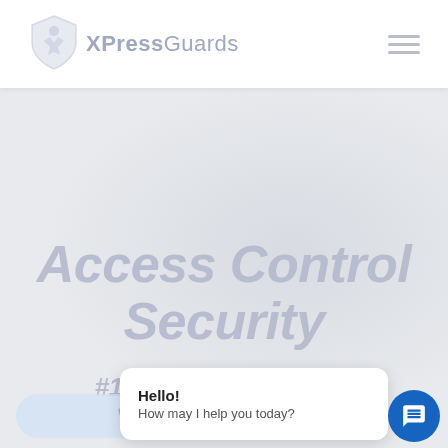[Figure (logo): XPressGuards logo: shield icon with X emblem and brand name XPressGuards in grey text]
[Figure (other): Hamburger menu icon (three horizontal lines) in grey]
Access Control Security
#1 Security Company
[Figure (other): Chat popup widget showing 'Hello! How may I help you today?' with a blue circular chat button]